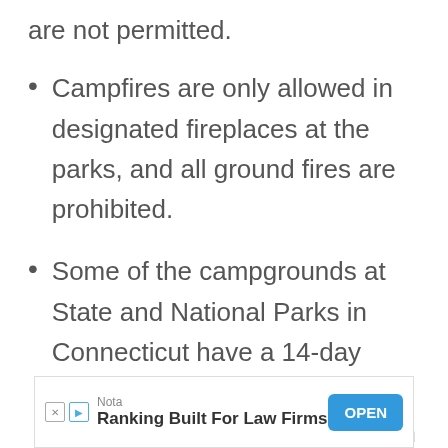are not permitted.
Campfires are only allowed in designated fireplaces at the parks, and all ground fires are prohibited.
Some of the campgrounds at State and National Parks in Connecticut have a 14-day maximum length of stay, while others have a 21-day maximum stay.